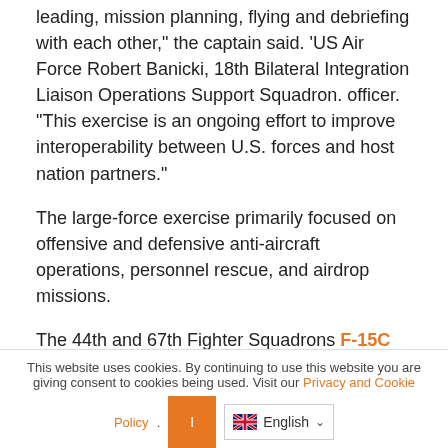leading, mission planning, flying and debriefing with each other," the captain said. 'US Air Force Robert Banicki, 18th Bilateral Integration Liaison Operations Support Squadron. officer. "This exercise is an ongoing effort to improve interoperability between U.S. forces and host nation partners."
The large-force exercise primarily focused on offensive and defensive anti-aircraft operations, personnel rescue, and airdrop missions.
The 44th and 67th Fighter Squadrons F-15C Eagles , 909th Air Refueling Squadron KC-135 Stratotankers , 961st Airborne Air Control Squadron Sentinel E-3 aircraft, and MC-130J Commando II aircraft assigned to the 353rd Air
This website uses cookies. By continuing to use this website you are giving consent to cookies being used. Visit our Privacy and Cookie Policy .